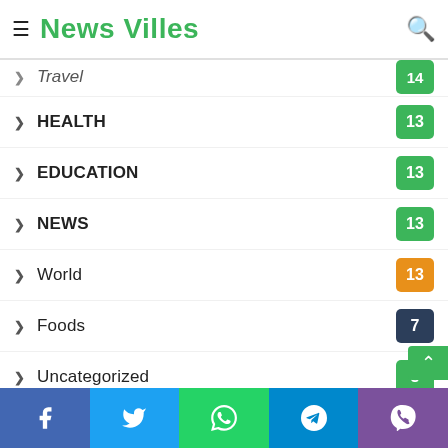News Villes
Travel  14
HEALTH  13
EDUCATION  13
NEWS  13
World  13
Foods  7
Uncategorized  5
REAL ESTATE  5
RANKINGS  3
MONEY  1
LAW
Facebook | Twitter | WhatsApp | Telegram | Viber